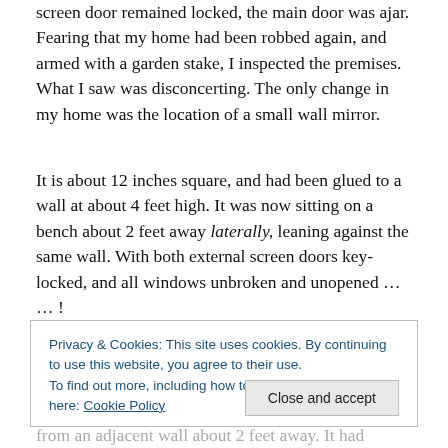screen door remained locked, the main door was ajar. Fearing that my home had been robbed again, and armed with a garden stake, I inspected the premises. What I saw was disconcerting. The only change in my home was the location of a small wall mirror.
It is about 12 inches square, and had been glued to a wall at about 4 feet high. It was now sitting on a bench about 2 feet away laterally, leaning against the same wall. With both external screen doors key-locked, and all windows unbroken and unopened … … !
Privacy & Cookies: This site uses cookies. By continuing to use this website, you agree to their use. To find out more, including how to control cookies, see here: Cookie Policy
from an adjacent wall about 2 feet away. It had obviously